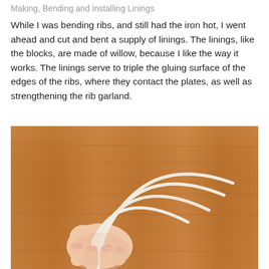Making, Bending and Installing Linings
While I was bending ribs, and still had the iron hot, I went ahead and cut and bent a supply of linings. The linings, like the blocks, are made of willow, because I like the way it works. The linings serve to triple the gluing surface of the edges of the ribs, where they contact the plates, as well as strengthening the rib garland.
[Figure (photo): A hand holding several curved bent willow lining strips, fanned out against a wooden background. The strips are white/cream colored and show the curved arc shape they have been bent into.]